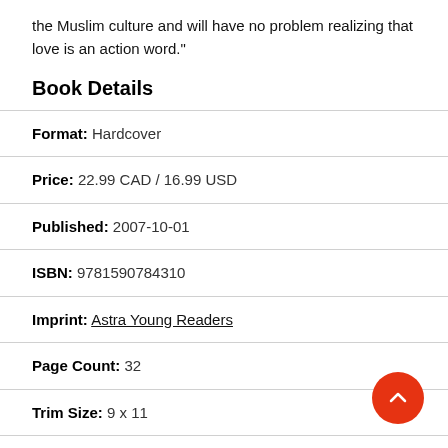the Muslim culture and will have no problem realizing that love is an action word."
Book Details
Format: Hardcover
Price: 22.99 CAD / 16.99 USD
Published: 2007-10-01
ISBN: 9781590784310
Imprint: Astra Young Readers
Page Count: 32
Trim Size: 9 x 11
Grades: Grades 1-4
Ages: 6-9 years